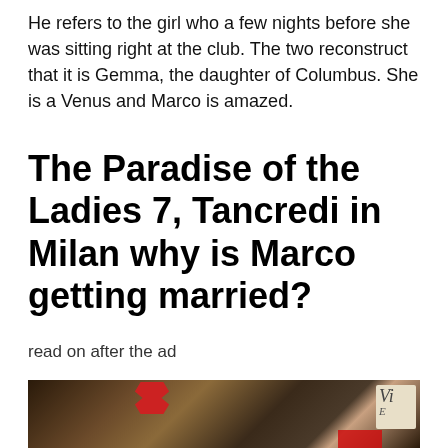He refers to the girl who a few nights before she was sitting right at the club. The two reconstruct that it is Gemma, the daughter of Columbus. She is a Venus and Marco is amazed.
The Paradise of the Ladies 7, Tancredi in Milan why is Marco getting married?
read on after the ad
[Figure (photo): A couple kissing. The woman has dark hair with a red bow hair accessory. A partial sign is visible in the background on the right side. A red banner appears at the bottom right.]